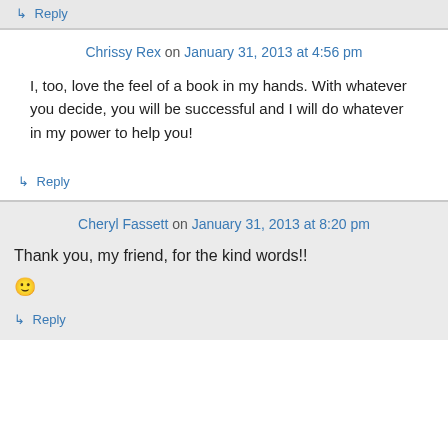↳ Reply
Chrissy Rex on January 31, 2013 at 4:56 pm
I, too, love the feel of a book in my hands. With whatever you decide, you will be successful and I will do whatever in my power to help you!
↳ Reply
Cheryl Fassett on January 31, 2013 at 8:20 pm
Thank you, my friend, for the kind words!! 🙂
↳ Reply